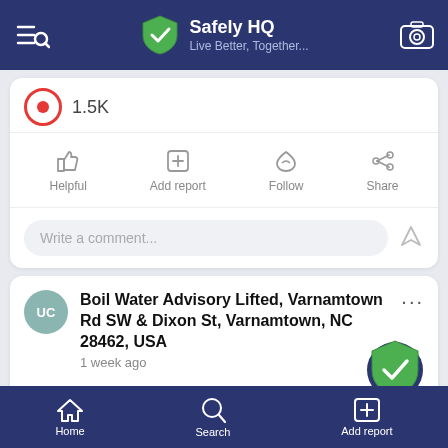Safely HQ — Live Better, Together...
1.5K
Helpful  Add report  Follow  Share
Write a comment...
Boil Water Advisory Lifted, Varnamtown Rd SW & Dixon St, Varnamtown, NC 28462, USA
1 week ago
Brunswick County Public Utilities water users along Varnamtown Road (from Riverside Drive to the
Home  Search  Add report